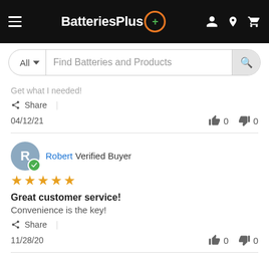BatteriesPlus — navigation header with search bar
Get what I needed!
Share |
04/12/21  👍 0  👎 0
Robert Verified Buyer ★★★★★ Great customer service! Convenience is the key! Share | 11/28/20 👍 0 👎 0